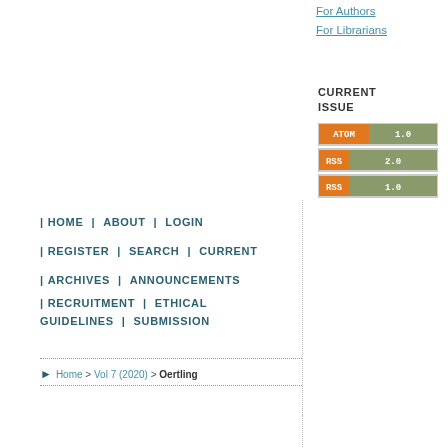For Authors
For Librarians
CURRENT ISSUE
[Figure (other): Feed buttons: ATOM 1.0, RSS 2.0, RSS 1.0]
HOME | ABOUT | LOGIN
REGISTER | SEARCH | CURRENT
ARCHIVES | ANNOUNCEMENTS
RECRUITMENT | ETHICAL GUIDELINES | SUBMISSION
Home > Vol 7 (2020) > Oertling